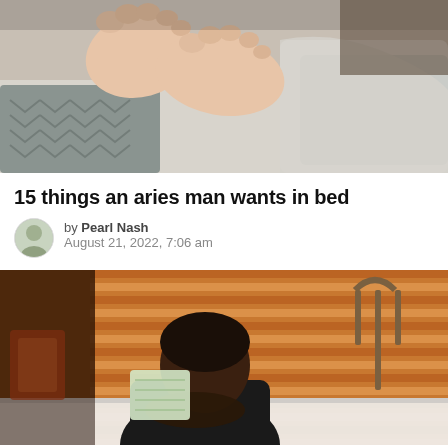[Figure (photo): Close-up photo of two pairs of bare feet touching under a cozy blanket on a bed with patterned pillows]
15 things an aries man wants in bed
by Pearl Nash
August 21, 2022, 7:06 am
[Figure (photo): Photo of a man sitting with head in hands at a table near window blinds, with a tuning fork visible on the right]